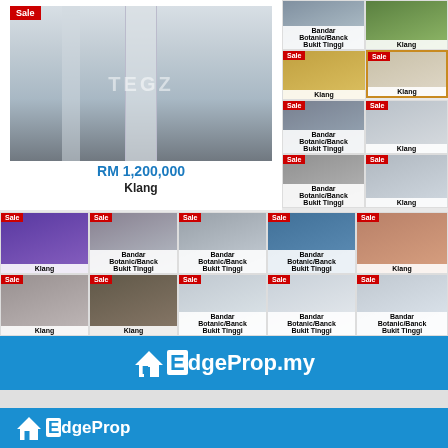[Figure (photo): Main property listing photo - interior of a property in Klang]
RM 1,200,000
Klang
[Figure (photo): Small property thumbnail - Klang (top right)]
[Figure (photo): Small property thumbnail - Sale - Klang]
[Figure (photo): Small property thumbnail - Sale - Klang (highlighted border)]
[Figure (photo): Small property thumbnail - Sale - Bandar Botanic/Bandar Bukit Tinggi]
[Figure (photo): Small property thumbnail - Sale - Klang]
[Figure (photo): Small property thumbnail - Sale - Bandar Botanic/Bandar Bukit Tinggi]
[Figure (photo): Small property thumbnail - Sale - Klang]
[Figure (photo): Bottom grid - Sale - Klang]
[Figure (photo): Bottom grid - Sale - Bandar Botanic/Bandar Bukit Tinggi]
[Figure (photo): Bottom grid - Sale - Bandar Botanic/Bandar Bukit Tinggi]
[Figure (photo): Bottom grid - Sale - Bandar Botanic/Bandar Bukit Tinggi]
[Figure (photo): Bottom grid - Sale - Klang]
[Figure (photo): Bottom grid - Sale - Klang]
[Figure (photo): Bottom grid - Sale - Klang]
[Figure (photo): Bottom grid - Sale - Bandar Botanic/Bandar Bukit Tinggi]
[Figure (photo): Bottom grid - Sale - Bandar Botanic/Bandar Bukit Tinggi]
[Figure (photo): Bottom grid - Sale - Bandar Botanic/Bandar Bukit Tinggi]
[Figure (logo): EdgeProp.my logo banner - blue background]
[Figure (logo): EdgeProp header bar - blue background]
Selangor